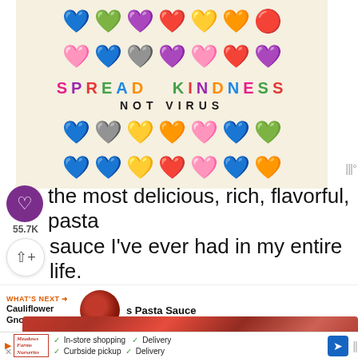[Figure (illustration): Colorful heart emoji characters arranged in rows on a beige/cream background with text 'SPREAD KINDNESS NOT VIRUS']
the most delicious, rich, flavorful, pasta sauce I've ever had in my entire life.
[Figure (photo): Thumbnail of cauliflower gnocchi with pasta sauce, circular image]
WHAT'S NEXT → Cauliflower Gnocchi and... s Pasta Sauce
[Figure (photo): Close-up photo of red pasta sauce with gnocchi]
In-store shopping  Curbside pickup  Delivery